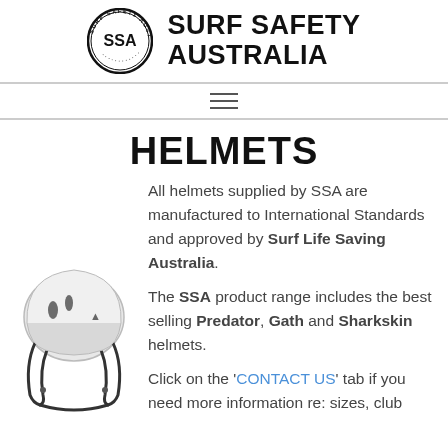SURF SAFETY AUSTRALIA
[Figure (logo): Surf Safety Australia circular logo with SSA initials and organization name around the border]
HELMETS
All helmets supplied by SSA are manufactured to International Standards and approved by Surf Life Saving Australia.
The SSA product range includes the best selling Predator, Gath and Sharkskin helmets.
Click on the 'CONTACT US' tab if you need more information re: sizes, club
[Figure (photo): White surf safety helmet with black straps and vents, shown from the front-side angle]